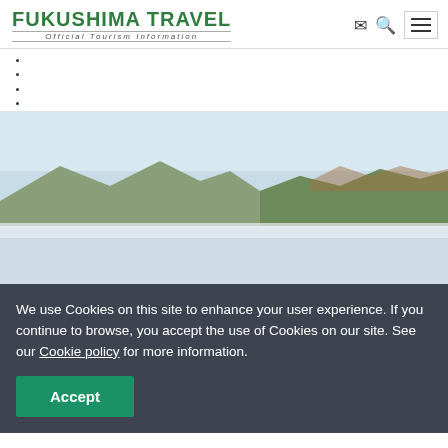FUKUSHIMA TRAVEL Official Tourism Information
[Figure (photo): Panoramic view of a calm lake with mountains and autumn foliage in the background under a pale blue sky]
We use Cookies on this site to enhance your user experience. If you continue to browse, you accept the use of Cookies on our site. See our Cookie policy for more information.
Accept